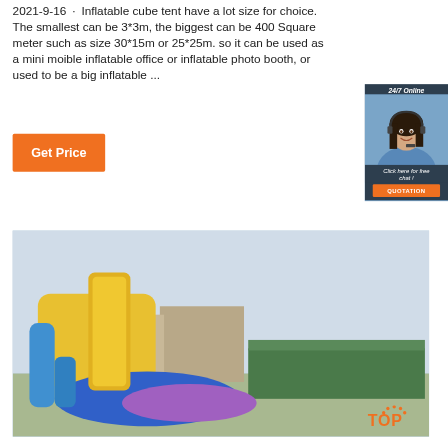2021-9-16u2002·u2002Inflatable cube tent have a lot size for choice. The smallest can be 3*3m, the biggest can be 400 Square meter such as size 30*15m or 25*25m. so it can be used as a mini moible inflatable office or inflatable photo booth, or used to be a big inflatable ...
[Figure (other): Orange 'Get Price' button]
[Figure (photo): 24/7 Online chat widget showing a woman with headset, 'Click here for free chat!' text, and orange QUOTATION button on dark background]
[Figure (photo): Photo of colorful inflatable water slides outdoors with buildings and trees in background, and orange TOP watermark logo in bottom right]